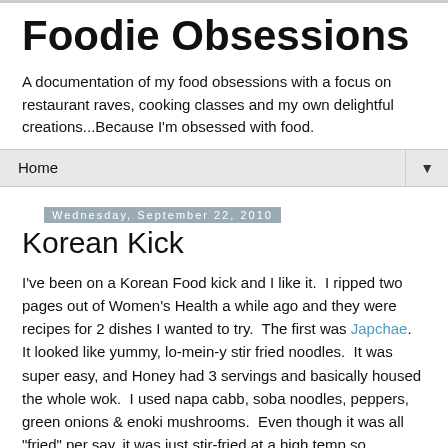Foodie Obsessions
A documentation of my food obsessions with a focus on restaurant raves, cooking classes and my own delightful creations...Because I'm obsessed with food.
Home
Wednesday, September 22, 2010
Korean Kick
I've been on a Korean Food kick and I like it.  I ripped two pages out of Women's Health a while ago and they were recipes for 2 dishes I wanted to try.  The first was Japchae.  It looked like yummy, lo-mein-y stir fried noodles.  It was super easy, and Honey had 3 servings and basically housed the whole wok.  I used napa cabb, soba noodles, peppers, green onions & enoki mushrooms.  Even though it was all "fried" per say, it was just stir-fried at a high temp so